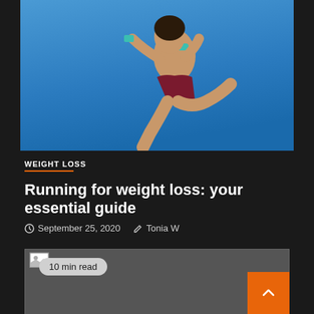[Figure (photo): A female runner jumping against a clear blue sky, wearing dark red/maroon shorts and a sports top with a teal waistband]
WEIGHT LOSS
Running for weight loss: your essential guide
September 25, 2020   Tonia W
10 min read